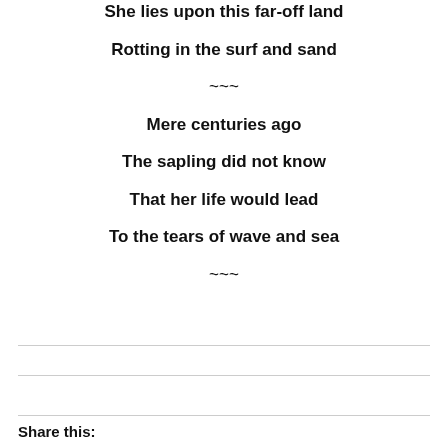She lies upon this far-off land
Rotting in the surf and sand
~~~
Mere centuries ago
The sapling did not know
That her life would lead
To the tears of wave and sea
~~~
Share this: